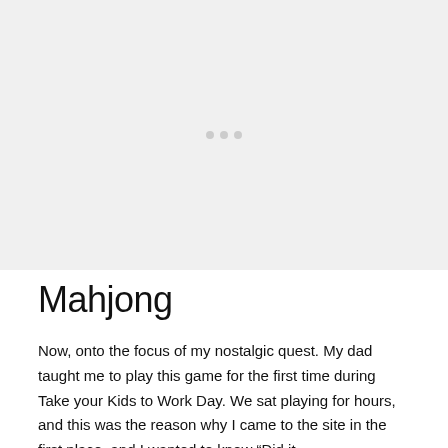[Figure (photo): A placeholder image area shown as a light grey rectangle with three small grey dots in the center, representing an image that was not loaded.]
Mahjong
Now, onto the focus of my nostalgic quest. My dad taught me to play this game for the first time during Take your Kids to Work Day. We sat playing for hours, and this was the reason why I came to the site in the first place, and I wanted to know “Did it